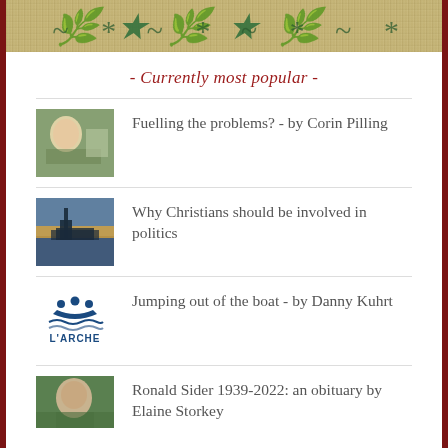[Figure (illustration): Burlap/hessian textured banner with decorative green script text]
- Currently most popular -
Fuelling the problems? - by Corin Pilling
Why Christians should be involved in politics
Jumping out of the boat - by Danny Kuhrt
Ronald Sider 1939-2022: an obituary by Elaine Storkey